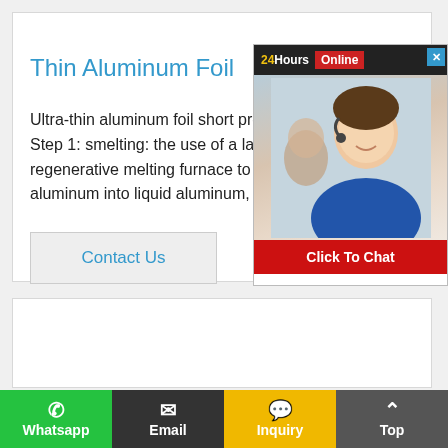Thin Aluminum Foil
Ultra-thin aluminum foil short process production process which is characterized Step 1: smelting: the use of a large-capa regenerative melting furnace to convert the aluminum into liquid aluminum, after cleanin...
[Figure (screenshot): Live chat widget overlay with '24Hours Online' header, headset-wearing customer service representative photo, and 'Click To Chat' red button]
Contact Us
Whatsapp  Email  Inquiry  Top